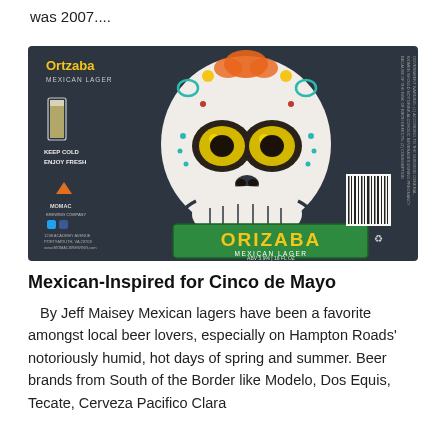was 2007....
[Figure (photo): Beer can label for Orizaba Mexican Lager by MoMac Brewing Company. Features a decorated Day of the Dead sugar skull on a dark background. Label reads 'ORIZABA MEXICAN LAGER, ABV 5.9% | 16 FL OZ'. Left side shows 'KEEP COLD ENJOY FRESH' and MoMac branding with social media icons and address.]
Mexican-Inspired for Cinco de Mayo
By Jeff Maisey Mexican lagers have been a favorite amongst local beer lovers, especially on Hampton Roads' notoriously humid, hot days of spring and summer. Beer brands from South of the Border like Modelo, Dos Equis, Tecate, Cerveza Pacifico Clara